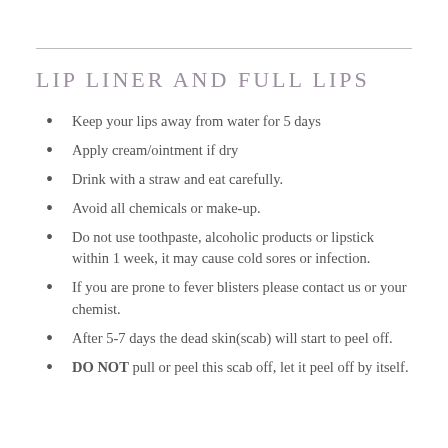LIP LINER AND FULL LIPS
Keep your lips away from water for 5 days
Apply cream/ointment if dry
Drink with a straw and eat carefully.
Avoid all chemicals or make-up.
Do not use toothpaste, alcoholic products or lipstick within 1 week, it may cause cold sores or infection.
If you are prone to fever blisters please contact us or your chemist.
After 5-7 days the dead skin(scab) will start to peel off.
DO NOT pull or peel this scab off, let it peel off by itself.